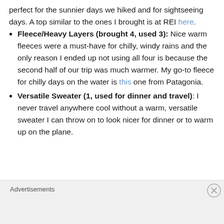perfect for the sunnier days we hiked and for sightseeing days. A top similar to the ones I brought is at REI here.
Fleece/Heavy Layers (brought 4, used 3): Nice warm fleeces were a must-have for chilly, windy rains and the only reason I ended up not using all four is because the second half of our trip was much warmer. My go-to fleece for chilly days on the water is this one from Patagonia.
Versatile Sweater (1, used for dinner and travel): I never travel anywhere cool without a warm, versatile sweater I can throw on to look nicer for dinner or to warm up on the plane.
Advertisements